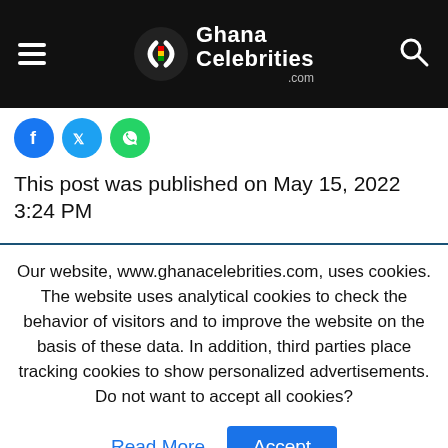Ghana Celebrities .com
[Figure (logo): Ghana Celebrities .com logo with hamburger menu and search icon on black header bar]
This post was published on May 15, 2022 3:24 PM
Our website, www.ghanacelebrities.com, uses cookies. The website uses analytical cookies to check the behavior of visitors and to improve the website on the basis of these data. In addition, third parties place tracking cookies to show personalized advertisements. Do not want to accept all cookies?
Read More  Accept